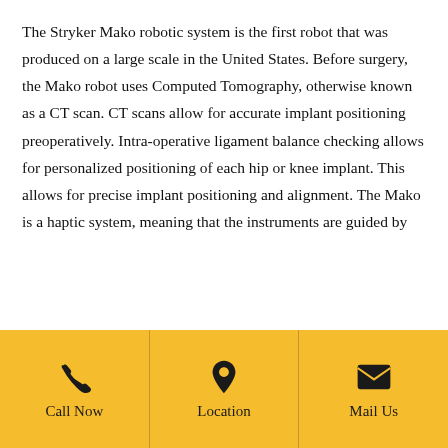The Stryker Mako robotic system is the first robot that was produced on a large scale in the United States. Before surgery, the Mako robot uses Computed Tomography, otherwise known as a CT scan. CT scans allow for accurate implant positioning preoperatively. Intra-operative ligament balance checking allows for personalized positioning of each hip or knee implant. This allows for precise implant positioning and alignment. The Mako is a haptic system, meaning that the instruments are guided by
[Figure (infographic): Yellow footer bar with three sections: phone icon with 'Call Now', location pin icon with 'Location', and envelope icon with 'Mail Us']